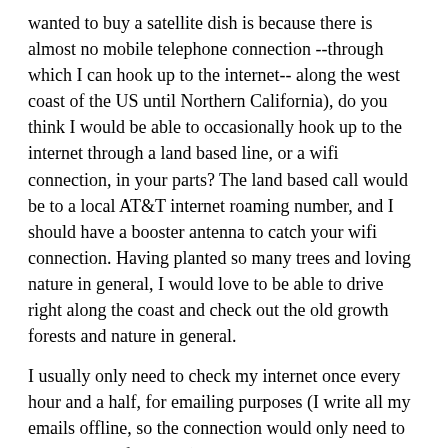wanted to buy a satellite dish is because there is almost no mobile telephone connection --through which I can hook up to the internet-- along the west coast of the US until Northern California), do you think I would be able to occasionally hook up to the internet through a land based line, or a wifi connection, in your parts? The land based call would be to a local AT&T internet roaming number, and I should have a booster antenna to catch your wifi connection. Having planted so many trees and loving nature in general, I would love to be able to drive right along the coast and check out the old growth forests and nature in general.
I usually only need to check my internet once every hour and a half, for emailing purposes (I write all my emails offline, so the connection would only need to be a couple of minutes).
Thank you and looking forward to hearing from you,
Karel from Prague